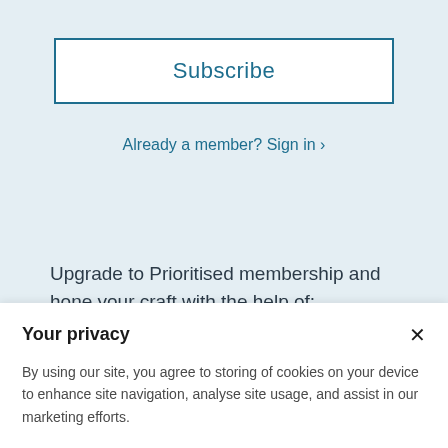Subscribe
Already a member? Sign in >
Upgrade to Prioritised membership and hone your craft with the help of:
Premium content & all our videos
Your privacy
By using our site, you agree to storing of cookies on your device to enhance site navigation, analyse site usage, and assist in our marketing efforts.